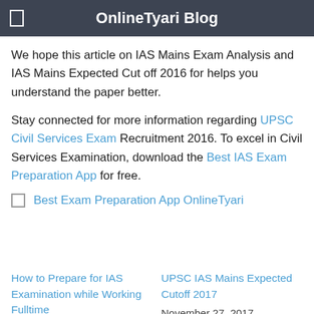OnlineTyari Blog
We hope this article on IAS Mains Exam Analysis and IAS Mains Expected Cut off 2016 for helps you understand the paper better.
Stay connected for more information regarding UPSC Civil Services Exam Recruitment 2016. To excel in Civil Services Examination, download the Best IAS Exam Preparation App for free.
Best Exam Preparation App OnlineTyari
How to Prepare for IAS Examination while Working Fulltime
March 21, 2016
In "IAS"
UPSC IAS Mains Expected Cutoff 2017
November 27, 2017
In "IAS"